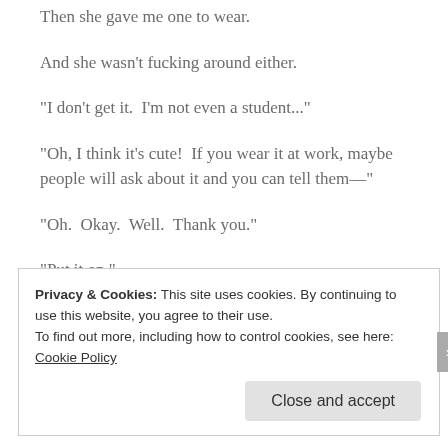Then she gave me one to wear.
And she wasn't fucking around either.
“I don't get it.  I'm not even a student...”
“Oh, I think it’s cute!  If you wear it at work, maybe people will ask about it and you can tell them—”
“Oh.  Okay.  Well.  Thank you.”
“Put it on.”
Privacy & Cookies: This site uses cookies. By continuing to use this website, you agree to their use.
To find out more, including how to control cookies, see here: Cookie Policy
Close and accept